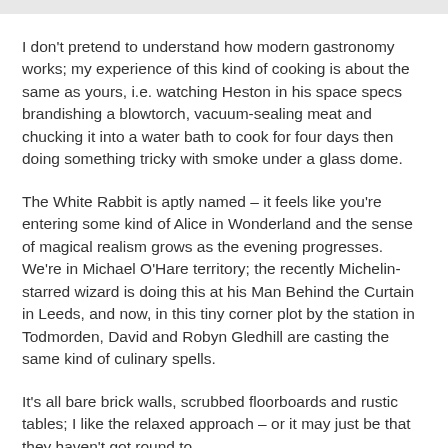I don't pretend to understand how modern gastronomy works; my experience of this kind of cooking is about the same as yours, i.e. watching Heston in his space specs brandishing a blowtorch, vacuum-sealing meat and chucking it into a water bath to cook for four days then doing something tricky with smoke under a glass dome.
The White Rabbit is aptly named – it feels like you're entering some kind of Alice in Wonderland and the sense of magical realism grows as the evening progresses. We're in Michael O'Hare territory; the recently Michelin-starred wizard is doing this at his Man Behind the Curtain in Leeds, and now, in this tiny corner plot by the station in Todmorden, David and Robyn Gledhill are casting the same kind of culinary spells.
It's all bare brick walls, scrubbed floorboards and rustic tables; I like the relaxed approach – or it may just be that they haven't got round to